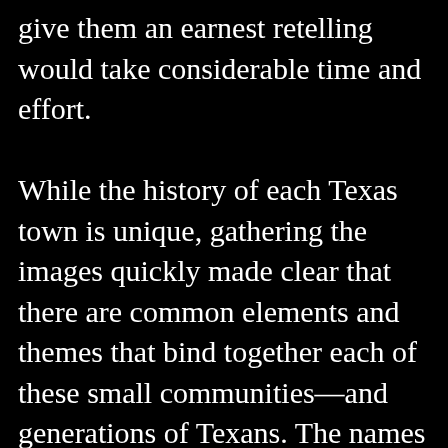give them an earnest retelling would take considerable time and effort.

While the history of each Texas town is unique, gathering the images quickly made clear that there are common elements and themes that bind together each of these small communities—and generations of Texans. The names of the churches and cafés and high school mascots might be different, and Main Street in one town may be Highway 95 in another, but the underlying motifs are universal. The fiery passion that animated my